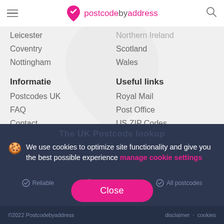postcode by address
Leicester
Coventry
Nottingham
Northern Ireland (partial)
Scotland
Wales
Informatie
Useful links
Postcodes UK
FAQ
Contact
Royal Mail
Post Office
US ZIP Codes
Featured: Gadfa
We use cookies to optimize site functionality and give you the best possible experience manage cookie settings
©2022 Postcodebyaddress   disclaimer · cookies